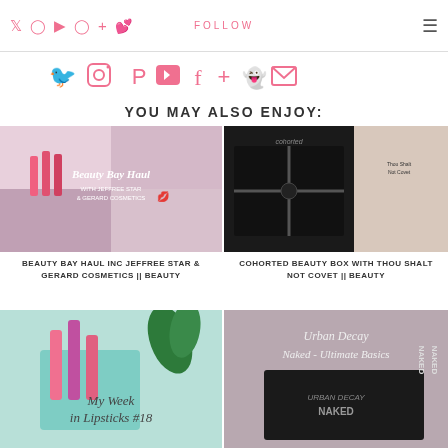FOLLOW (social icons + hamburger menu)
[Figure (infographic): Social media icons row: Twitter, Instagram, Pinterest, YouTube, Facebook, Plus, Snapchat, Email in pink]
YOU MAY ALSO ENJOY:
[Figure (photo): Beauty Bay Haul thumbnail with Jeffree Star & Gerard Cosmetics products, pink lipsticks and makeup]
BEAUTY BAY HAUL INC JEFFREE STAR & GERARD COSMETICS || BEAUTY
[Figure (photo): Cohorted Beauty Box with Thou Shalt Not Covet, black box with ribbon]
COHORTED BEAUTY BOX WITH THOU SHALT NOT COVET || BEAUTY
[Figure (photo): My Week in Lipsticks #18 - pink lipsticks in mint holder]
[Figure (photo): Urban Decay Naked - Ultimate Basics palette]